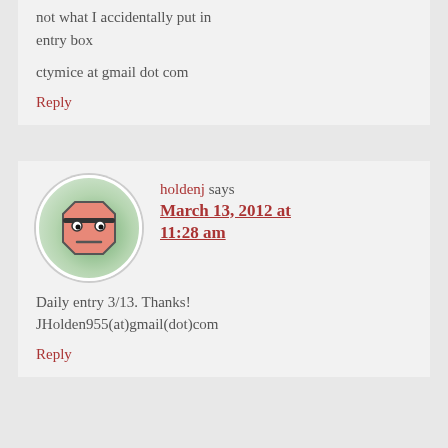not what I accidentally put in entry box
ctymice at gmail dot com
Reply
[Figure (illustration): Cartoon avatar: a grumpy octagon-shaped face with glasses on a green circular background]
holdenj says March 13, 2012 at 11:28 am
Daily entry 3/13. Thanks! JHolden955(at)gmail(dot)com
Reply